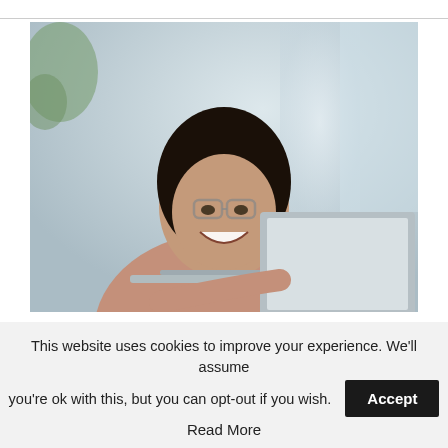[Figure (photo): Woman with glasses laughing while using a laptop computer in a bright office setting]
Well Paying Ecommerce Developer Salaries - See Now
Ecommerce Developer Jobs | Search Ads | Sponsored
This website uses cookies to improve your experience. We'll assume you're ok with this, but you can opt-out if you wish. Accept Read More